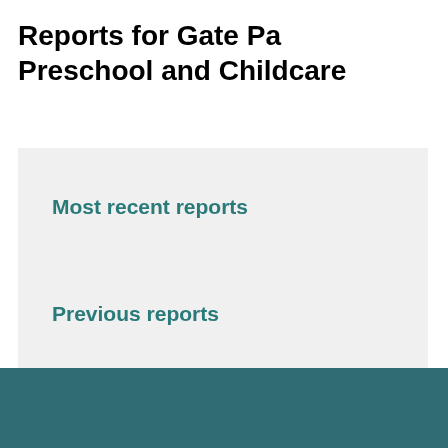Reports for Gate Pa Preschool and Childcare
Most recent reports
Previous reports